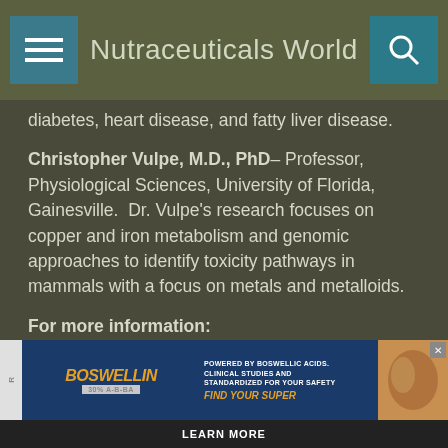Nutraceuticals World
diabetes, heart disease, and fatty liver disease.
Christopher Vulpe, M.D., PhD– Professor, Physiological Sciences, University of Florida, Gainesville.  Dr. Vulpe's research focuses on copper and iron metabolism and genomic approaches to identify toxicity pathways in mammals with a focus on metals and metalloids.
For more information: www.innophosnutrition.com, www.innophos.com
RELATED SEARCHES
AMINO ACID
PROTEIN
OBESITY
NATURAL
[Figure (screenshot): Boswellin advertisement banner at the bottom of the page]